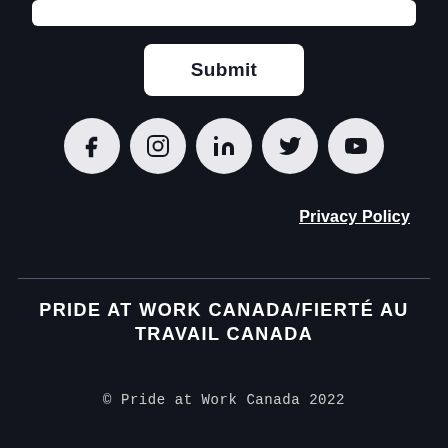[Figure (screenshot): White input form field area at top of page]
Submit
[Figure (infographic): Row of five social media icons: Facebook, Instagram, LinkedIn, Twitter, YouTube — each in a light grey circle on dark background]
Privacy Policy
PRIDE AT WORK CANADA/FIERTÉ AU TRAVAIL CANADA
© Pride at Work Canada 2022